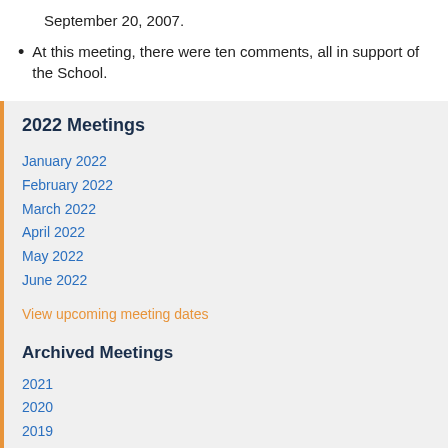September 20, 2007.
At this meeting, there were ten comments, all in support of the School.
2022 Meetings
January 2022
February 2022
March 2022
April 2022
May 2022
June 2022
View upcoming meeting dates
Archived Meetings
2021
2020
2019
2018